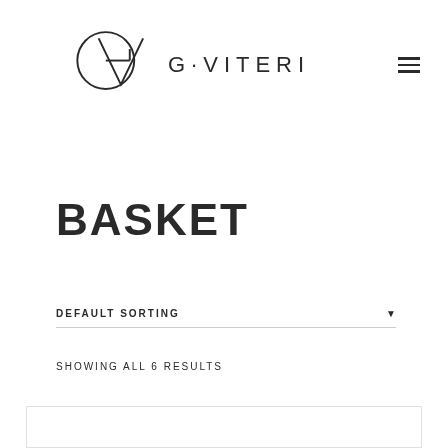G·VITERI logo with hamburger menu
BASKET
DEFAULT SORTING
SHOWING ALL 6 RESULTS